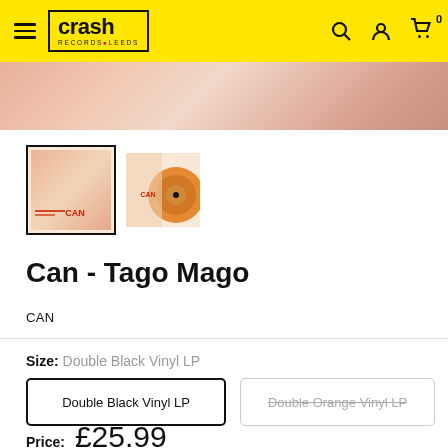Crash Records Leeds - header with logo, search, account, cart icons
[Figure (photo): Product image strip showing Tago Mago album art background]
[Figure (photo): Thumbnail 1: Can - Tago Mago album cover (selected, with border)]
[Figure (photo): Thumbnail 2: Can - Tago Mago with orange vinyl disc]
Can - Tago Mago
CAN
Size: Double Black Vinyl LP
Double Black Vinyl LP
Double Orange Vinyl LP
Price: £25.99